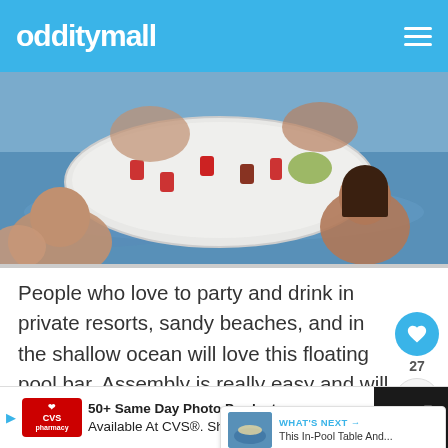odditymall
[Figure (photo): People in a pool gathered around a white floating pool bar/table with drinks on it, aerial view]
People who love to party and drink in private resorts, sandy beaches, and in the shallow ocean will love this floating pool bar. Assembly is really easy and will only take you a few minutes at most even on your own. Take your summer relaxation to a whole new level with this amazing floating pool bar.
[Figure (other): What's Next promotional widget showing This In-Pool Table And...]
[Figure (other): CVS Pharmacy advertisement: 50+ Same Day Photo Products Available At CVS. Shop Today!]